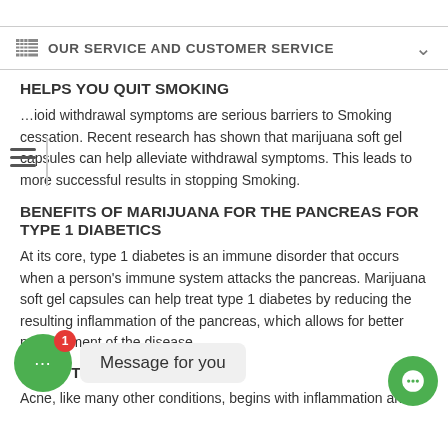OUR SERVICE AND CUSTOMER SERVICE
HELPS YOU QUIT SMOKING
...ioid withdrawal symptoms are serious barriers to Smoking cessation. Recent research has shown that marijuana soft gel capsules can help alleviate withdrawal symptoms. This leads to more successful results in stopping Smoking.
BENEFITS OF MARIJUANA FOR THE PANCREAS FOR TYPE 1 DIABETICS
At its core, type 1 diabetes is an immune disorder that occurs when a person's immune system attacks the pancreas. Marijuana soft gel capsules can help treat type 1 diabetes by reducing the resulting inflammation of the pancreas, which allows for better management of the disease.
ACNE TREATMENT
Acne, like many other conditions, begins with inflammation and